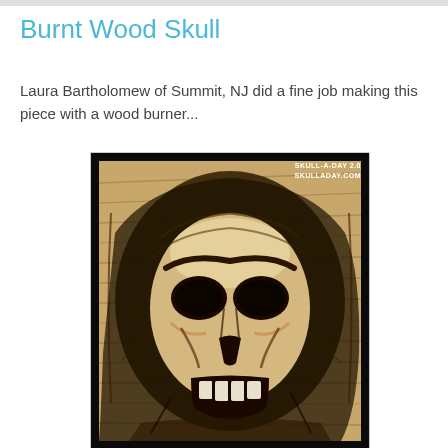Burnt Wood Skull
Laura Bartholomew of Summit, NJ did a fine job making this piece with a wood burner...
[Figure (photo): A wood-burned skull artwork on a piece of wood, showing a detailed skull face with dark eye sockets, cheekbones, and teeth, surrounded by wood grain texture. Watermark reads SKULL-A-DAY 2.0 SKULLADAY.COM in the upper right corner.]